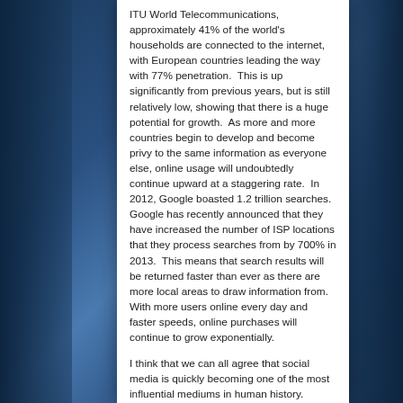ITU World Telecommunications, approximately 41% of the world's households are connected to the internet, with European countries leading the way with 77% penetration.  This is up significantly from previous years, but is still relatively low, showing that there is a huge potential for growth.  As more and more countries begin to develop and become privy to the same information as everyone else, online usage will undoubtedly continue upward at a staggering rate.  In 2012, Google boasted 1.2 trillion searches.  Google has recently announced that they have increased the number of ISP locations that they process searches from by 700% in 2013.  This means that search results will be returned faster than ever as there are more local areas to draw information from.  With more users online every day and faster speeds, online purchases will continue to grow exponentially.
I think that we can all agree that social media is quickly becoming one of the most influential mediums in human history.  Reports suggest that as many as 40% of adults that are 30 years or younger, receive their daily dose of the news from